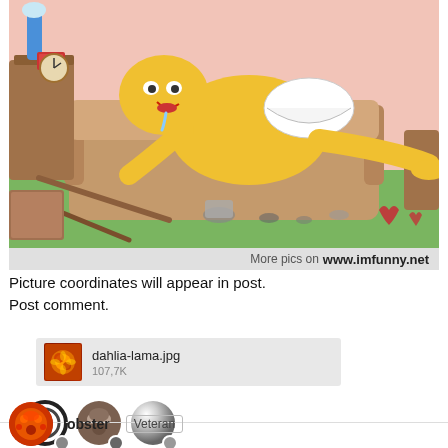[Figure (illustration): Cartoon illustration of Homer Simpson in underwear sprawled on a couch in a messy living room with beer cans on the floor, from The Simpsons. Watermark bar at bottom reads 'More pics on www.imfunny.net']
Picture coordinates will appear in post.
Post comment.
[Figure (other): File attachment thumbnail showing dahlia-lama.jpg, 107.7K, with a thumbnail image of a flower]
[Figure (other): Three user avatar icons with small badge overlays]
lobster  Veteran